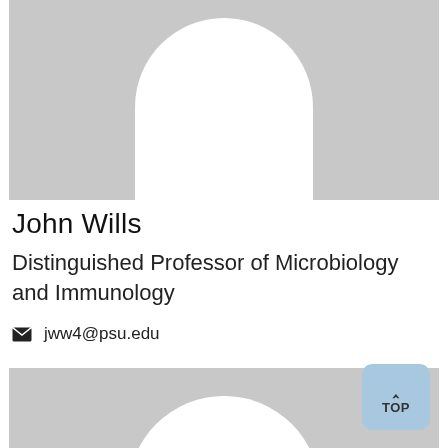[Figure (photo): Placeholder profile photo silhouette with gray background and white head shape, top portion]
John Wills
Distinguished Professor of Microbiology and Immunology
jww4@psu.edu
[Figure (photo): Placeholder profile photo silhouette with gray background and white body/circle shape, bottom portion]
^ TOP